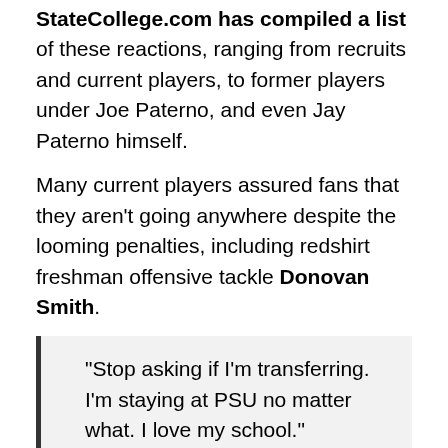StateCollege.com has compiled a list of these reactions, ranging from recruits and current players, to former players under Joe Paterno, and even Jay Paterno himself.
Many current players assured fans that they aren't going anywhere despite the looming penalties, including redshirt freshman offensive tackle Donovan Smith.
"Stop asking if I'm transferring. I'm staying at PSU no matter what. I love my school."
Former wide receiver Graham Zug pleaded for the current team to stick together.
"Really hoping the team sticks together and realizes